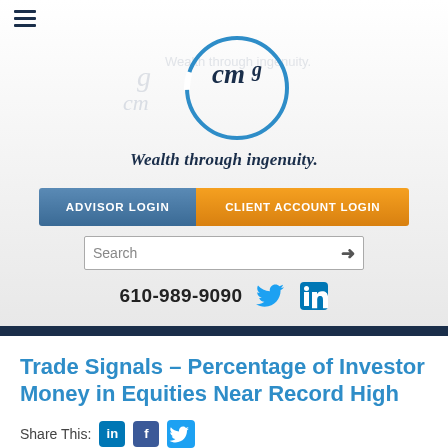[Figure (logo): CMG Wealth through ingenuity logo — circular blue ring with 'cmg' text and faded watermark behind]
Wealth through ingenuity.
ADVISOR LOGIN
CLIENT ACCOUNT LOGIN
Search
610-989-9090
Trade Signals – Percentage of Investor Money in Equities Near Record High
Share This: